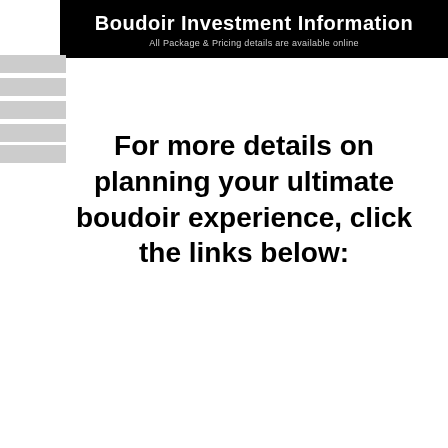Boudoir Investment Information
All Package & Pricing details are available online
For more details on planning your ultimate boudoir experience, click the links below: